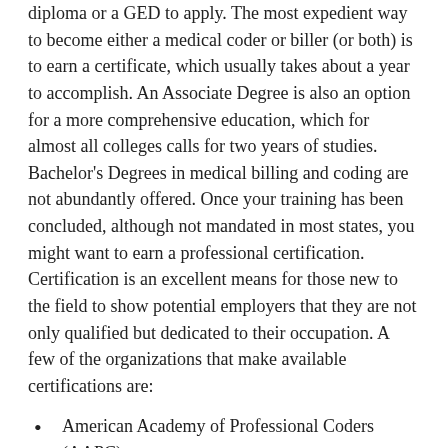diploma or a GED to apply. The most expedient way to become either a medical coder or biller (or both) is to earn a certificate, which usually takes about a year to accomplish. An Associate Degree is also an option for a more comprehensive education, which for almost all colleges calls for two years of studies. Bachelor's Degrees in medical billing and coding are not abundantly offered. Once your training has been concluded, although not mandated in most states, you might want to earn a professional certification. Certification is an excellent means for those new to the field to show potential employers that they are not only qualified but dedicated to their occupation. A few of the organizations that make available certifications are:
American Academy of Professional Coders (AAPC).
Board of Medical Specialty Coding (BMSC).
The Professional Association of Healthcare Coding Specialists (PAHCS).
American Health Information Management Association